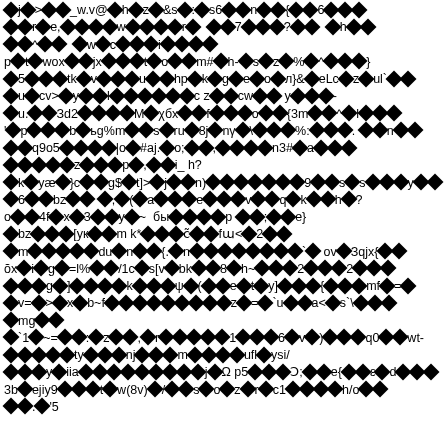Corrupted/encoded text block with diamond replacement characters and mixed ASCII symbols. Content appears to be garbled or encoded data with special characters, numbers, and symbols interspersed with diamond placeholder characters representing unrecognized glyphs.